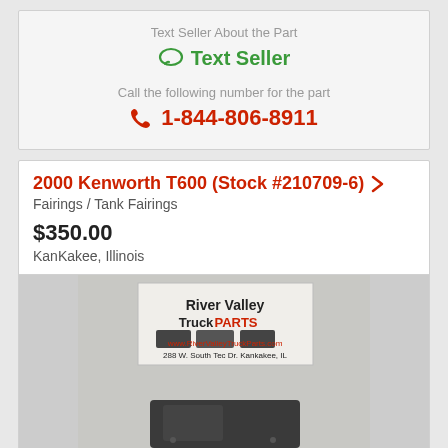Text Seller About the Part
Text Seller
Call the following number for the part
1-844-806-8911
2000 Kenworth T600 (Stock #210709-6)
Fairings / Tank Fairings
$350.00
KanKakee, Illinois
[Figure (photo): Photo of a dark gray tank fairing part for a 2000 Kenworth T600, with a River Valley Truck Parts sign showing www.RiverValleyTruckParts.com and 288 W. South Tec Dr. Kankakee, IL visible on the wall behind it.]